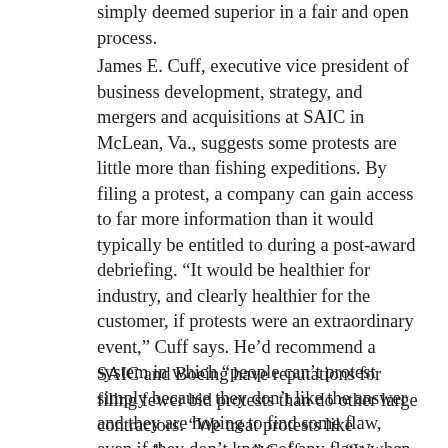simply deemed superior in a fair and open process.
James E. Cuff, executive vice president of business development, strategy, and mergers and acquisitions at SAIC in McLean, Va., suggests some protests are little more than fishing expeditions. By filing a protest, a company can gain access to far more information than it would typically be entitled to during a post-award debriefing. “It would be healthier for industry, and clearly healthier for the customer, if protests were an extraordinary event,” Cuff says. He’d recommend a system in which “people can’t protest simply because they don’t like the answer and they are hoping to find some flaw, even if they don’t know of any flaw, when they file the protest.”
SAIC and Boeing have reputations for filing fewer bid protests than do other large contractors. “We treat protests like extraordinary events,” Cuff says. “We set a high bar when protesting. There must be a significant